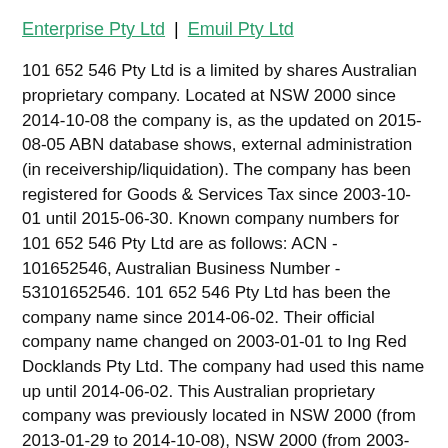Enterprise Pty Ltd | Emuil Pty Ltd
101 652 546 Pty Ltd is a limited by shares Australian proprietary company. Located at NSW 2000 since 2014-10-08 the company is, as the updated on 2015-08-05 ABN database shows, external administration (in receivership/liquidation). The company has been registered for Goods & Services Tax since 2003-10-01 until 2015-06-30. Known company numbers for 101 652 546 Pty Ltd are as follows: ACN - 101652546, Australian Business Number - 53101652546. 101 652 546 Pty Ltd has been the company name since 2014-06-02. Their official company name changed on 2003-01-01 to Ing Red Docklands Pty Ltd. The company had used this name up until 2014-06-02. This Australian proprietary company was previously located in NSW 2000 (from 2013-01-29 to 2014-10-08), NSW 2000 (from 2003-01-01 to 2013-01-29). AUBiz found 0 trademarks that reference the abovementioned company.